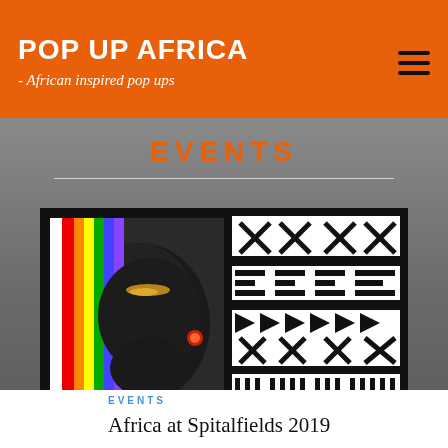POP UP AFRICA - African inspired pop ups
EVENTS
[Figure (photo): Composite image: left half shows an African person with face adornments and colorful beaded or painted accents (red, orange, yellow, purple rainbow stripes), right half shows bold black and white African geometric/tribal textile pattern with X shapes and angular designs.]
EVENTS
Africa at Spitalfields 2019
Kicking off Summer, Pop Up Africa returns to Spitalfields E1 on Bank Holiday Monday 27th May 2019 to host Africa